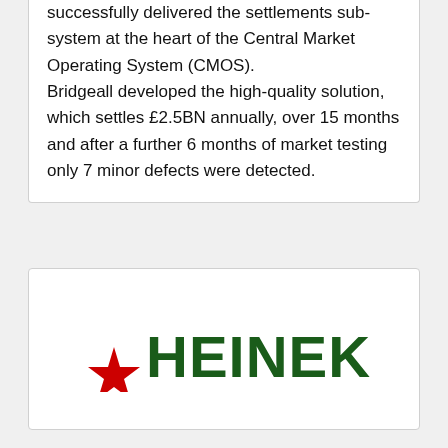successfully delivered the settlements sub-system at the heart of the Central Market Operating System (CMOS). Bridgeall developed the high-quality solution, which settles £2.5BN annually, over 15 months and after a further 6 months of market testing only 7 minor defects were detected.
[Figure (logo): Heineken logo — red star on the left, 'HEINEKEN' in bold dark green capital letters]